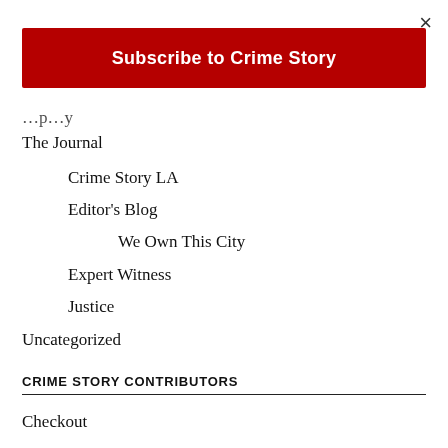×
Subscribe to Crime Story
…p…y (partial, cropped)
The Journal
Crime Story LA
Editor's Blog
We Own This City
Expert Witness
Justice
Uncategorized
CRIME STORY CONTRIBUTORS
Checkout